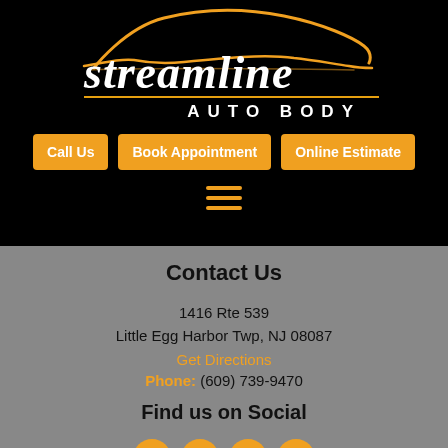[Figure (logo): Streamline Auto Body logo with orange car silhouette and italic white brand name with orange underline]
Call Us
Book Appointment
Online Estimate
[Figure (other): Hamburger menu icon with three orange horizontal lines]
Contact Us
1416 Rte 539
Little Egg Harbor Twp, NJ 08087
Get Directions
Phone: (609) 739-9470
Find us on Social